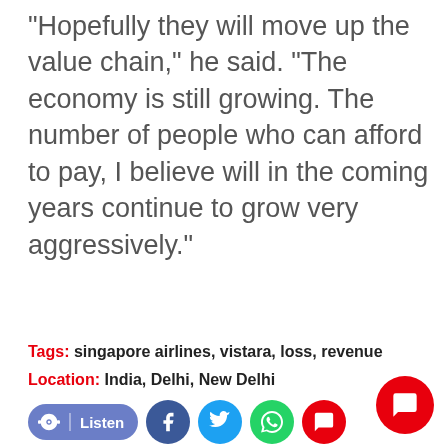“Hopefully they will move up the value chain,” he said. “The economy is still growing. The number of people who can afford to pay, I believe will in the coming years continue to grow very aggressively.”
Tags: singapore airlines, vistara, loss, revenue
Location: India, Delhi, New Delhi
[Figure (other): Social sharing bar with Listen button (blue pill), Facebook icon (dark blue circle), Twitter icon (light blue circle), WhatsApp icon (green circle), Comment icon (red circle), and a floating red chat bubble button in the bottom right corner.]